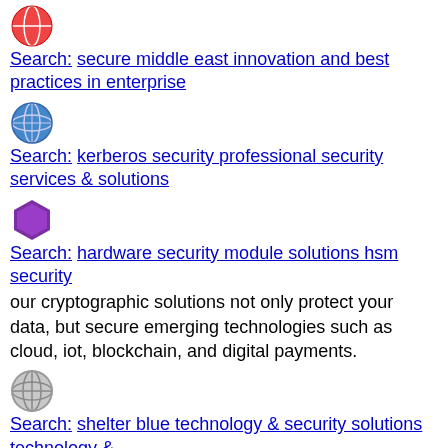Search: secure middle east innovation and best practices in enterprise
Search: kerberos security professional security services & solutions
Search: hardware security module solutions hsm security
our cryptographic solutions not only protect your data, but secure emerging technologies such as cloud, iot, blockchain, and digital payments.
Search: shelter blue technology & security solutions technology &
Search: vitrium security enterprise content security and drm software
vitrium security - enterprise content security & drm software
Search: cyber security solutions providers nanjgel solutions
11 successful years in the it security industry with a global customer base, we provide a comprehensive range of cyber security and data privacy solutions & services to help you assess, build and manage your cyber security capabilities, and protect your